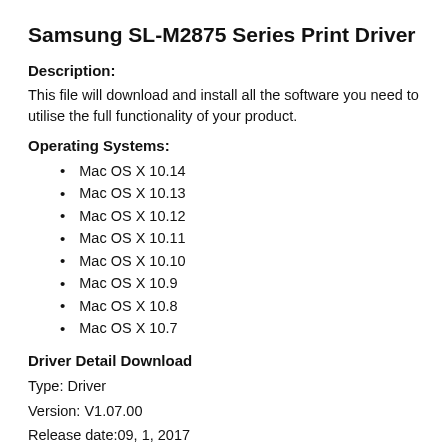Samsung SL-M2875 Series Print Driver
Description:
This file will download and install all the software you need to utilise the full functionality of your product.
Operating Systems:
Mac OS X 10.14
Mac OS X 10.13
Mac OS X 10.12
Mac OS X 10.11
Mac OS X 10.10
Mac OS X 10.9
Mac OS X 10.8
Mac OS X 10.7
Driver Detail Download
Type: Driver
Version: V1.07.00
Release date:09, 1, 2017
File name: